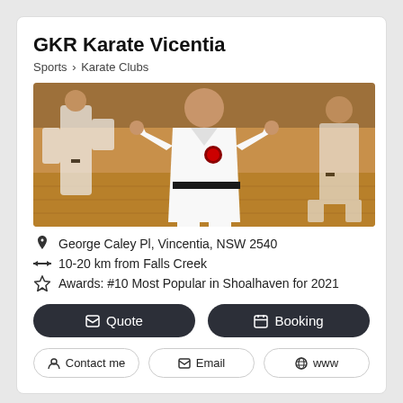GKR Karate Vicentia
Sports > Karate Clubs
[Figure (photo): Karate practitioners in white gi and black belts performing martial arts moves in a gymnasium]
George Caley Pl, Vincentia, NSW 2540
10-20 km from Falls Creek
Awards: #10 Most Popular in Shoalhaven for 2021
Quote
Booking
Contact me
Email
www